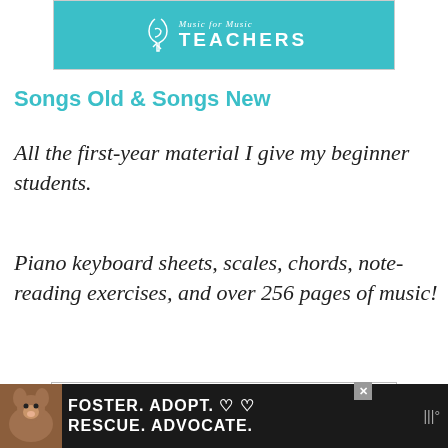[Figure (logo): Music for Music Teachers teal banner logo with treble clef icon and text 'Music for Music TEACHERS']
Songs Old & Songs New
All the first-year material I give my beginner students.
Piano keyboard sheets, scales, chords, note-reading exercises, and over 256 pages of music!
[Figure (logo): Esther logo in teal with stylized circle-E and decorative elements]
[Figure (photo): Advertisement banner: dog photo on left, text 'FOSTER. ADOPT. RESCUE. ADVOCATE.' on dark background with heart icons and close button]